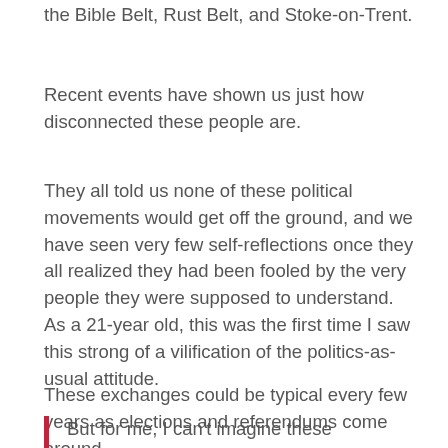the Bible Belt, Rust Belt, and Stoke-on-Trent.
Recent events have shown us just how disconnected these people are.
They all told us none of these political movements would get off the ground, and we have seen very few self-reflections once they all realized they had been fooled by the very people they were supposed to understand.
As a 21-year old, this was the first time I saw this strong of a vilification of the politics-as-usual attitude.
These exchanges could be typical every few years as elections and referendums come around.
But for me, I can't imagine these frustrations